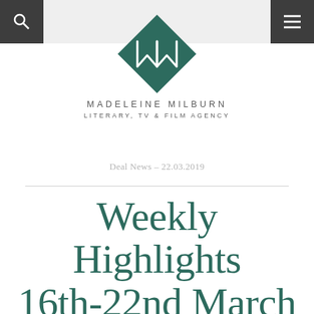Madeleine Milburn Literary, TV & Film Agency — navigation bar with search and menu icons
[Figure (logo): Madeleine Milburn agency logo: a teal diamond shape with stylized MM monogram in white]
MADELEINE MILBURN
LITERARY, TV & FILM AGENCY
Deal News – 22.03.2019
Weekly Highlights 16th-22nd March